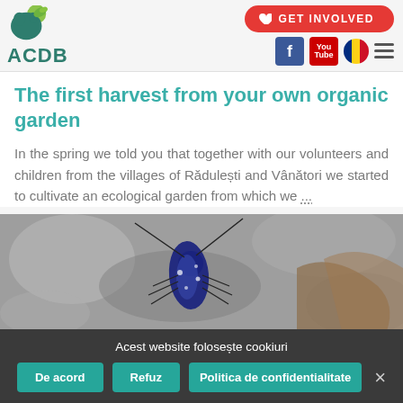ACDB - GET INVOLVED
The first harvest from your own organic garden
In the spring we told you that together with our volunteers and children from the villages of Rădulești and Vânători we started to cultivate an ecological garden from which we ...
[Figure (photo): Close-up photograph of a blue-black longhorn beetle on a rocky or bark surface]
Acest website folosește cookiuri
De acord | Refuz | Politica de confidentialitate